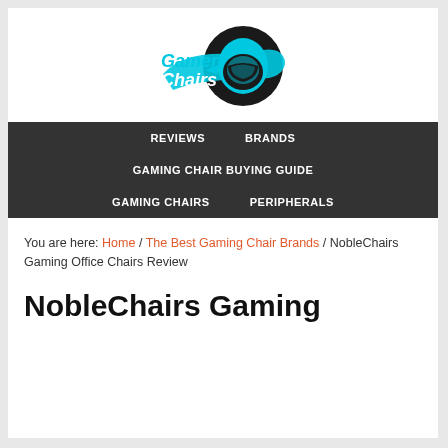[Figure (logo): Gamer Chairs logo with cyan/blue gaming helmet graphic and stylized text]
REVIEWS   BRANDS   GAMING CHAIR BUYING GUIDE   GAMING CHAIRS   PERIPHERALS
You are here: Home / The Best Gaming Chair Brands / NobleChairs Gaming Office Chairs Review
NobleChairs Gaming